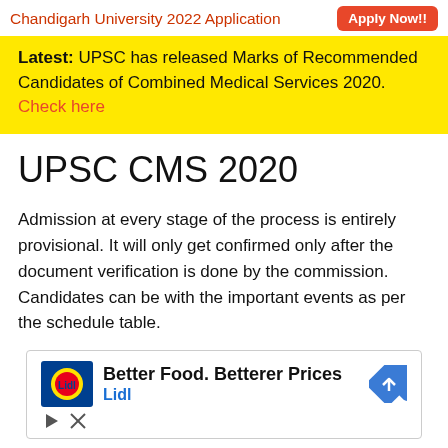Chandigarh University 2022 Application  Apply Now!!
Latest: UPSC has released Marks of Recommended Candidates of Combined Medical Services 2020. Check here
UPSC CMS 2020
Admission at every stage of the process is entirely provisional. It will only get confirmed only after the document verification is done by the commission. Candidates can be with the important events as per the schedule table.
[Figure (infographic): Advertisement banner: Better Food. Betterer Prices - Lidl, with Lidl logo, blue diamond navigation icon, play and close buttons]